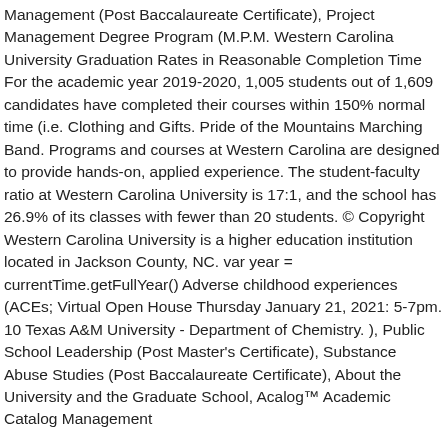Management (Post Baccalaureate Certificate), Project Management Degree Program (M.P.M. Western Carolina University Graduation Rates in Reasonable Completion Time For the academic year 2019-2020, 1,005 students out of 1,609 candidates have completed their courses within 150% normal time (i.e. Clothing and Gifts. Pride of the Mountains Marching Band. Programs and courses at Western Carolina are designed to provide hands-on, applied experience. The student-faculty ratio at Western Carolina University is 17:1, and the school has 26.9% of its classes with fewer than 20 students. © Copyright Western Carolina University is a higher education institution located in Jackson County, NC. var year = currentTime.getFullYear() Adverse childhood experiences (ACEs; Virtual Open House Thursday January 21, 2021: 5-7pm. 10 Texas A&M University - Department of Chemistry. ), Public School Leadership (Post Master's Certificate), Substance Abuse Studies (Post Baccalaureate Certificate), About the University and the Graduate School, Acalog™ Academic Catalog Management